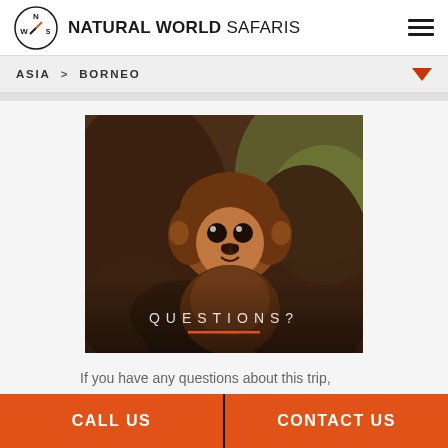NATURAL WORLD SAFARIS
ASIA > BORNEO
[Figure (photo): A baby orangutan clinging to its mother, looking directly at the camera with large expressive eyes. The background shows out-of-focus green foliage. Overlaid text reads QUESTIONS? with an orange underline.]
If you have any questions about this trip, contact one of our Destination Specialists to start
CALL US  |  CONTACT US